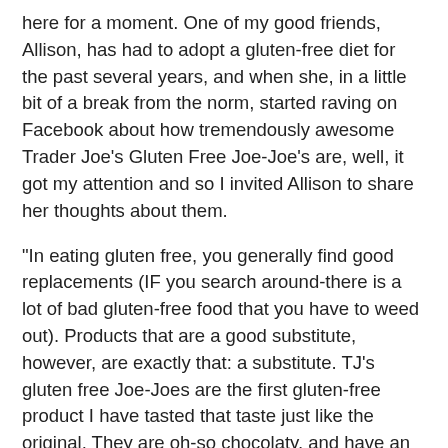here for a moment. One of my good friends, Allison, has had to adopt a gluten-free diet for the past several years, and when she, in a little bit of a break from the norm, started raving on Facebook about how tremendously awesome Trader Joe's Gluten Free Joe-Joe's are, well, it got my attention and so I invited Allison to share her thoughts about them.
"In eating gluten free, you generally find good replacements (IF you search around-there is a lot of bad gluten-free food that you have to weed out). Products that are a good substitute, however, are exactly that: a substitute. TJ's gluten free Joe-Joes are the first gluten-free product I have tasted that taste just like the original. They are oh-so chocolaty, and have an amazing texture, reminiscent of Oreos (in my opinion, better, since you can taste the real vanilla bean in the middle). I had my non-gluten-free husband try them, and he loved them as well, guessing that he wouldn't have been able to tell the difference in a blind taste test," she wrote. "I would also add that good chocolate flavor in cookies and cakes (gluten free or not) is hard to do. Many times the chocolate flavor is flat, especially in packaged cookies.